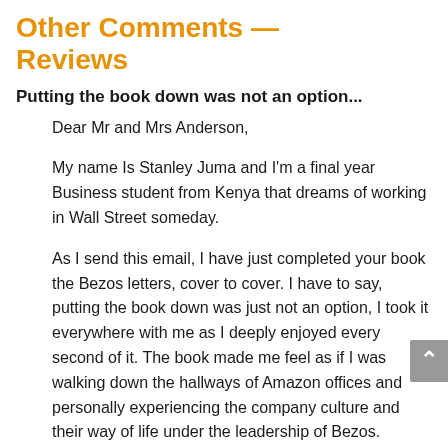Other Comments — Reviews
Putting the book down was not an option...
Dear Mr and Mrs Anderson,

My name Is Stanley Juma and I'm a final year Business student from Kenya that dreams of working in Wall Street someday.

As I send this email, I have just completed your book the Bezos letters, cover to cover. I have to say, putting the book down was just not an option, I took it everywhere with me as I deeply enjoyed every second of it. The book made me feel as if I was walking down the hallways of Amazon offices and personally experiencing the company culture and their way of life under the leadership of Bezos.